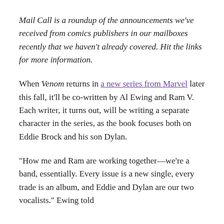Mail Call is a roundup of the announcements we've received from comics publishers in our mailboxes recently that we haven't already covered. Hit the links for more information.
When Venom returns in a new series from Marvel later this fall, it'll be co-written by Al Ewing and Ram V. Each writer, it turns out, will be writing a separate character in the series, as the book focuses both on Eddie Brock and his son Dylan.
“How me and Ram are working together—we’re a band, essentially. Every issue is a new single, every trade is an album, and Eddie and Dylan are our two vocalists.” Ewing told…